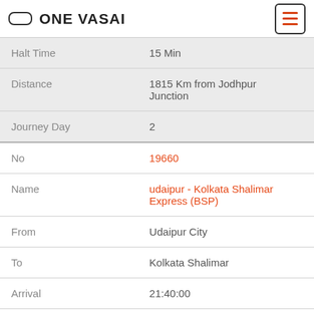ONE VASAI
| Halt Time | 15 Min |
| Distance | 1815 Km from Jodhpur Junction |
| Journey Day | 2 |
| No | 19660 |
| Name | udaipur - Kolkata Shalimar Express (BSP) |
| From | Udaipur City |
| To | Kolkata Shalimar |
| Arrival | 21:40:00 |
| Departure | 21:55:00 |
| DaysOfWeek | F |